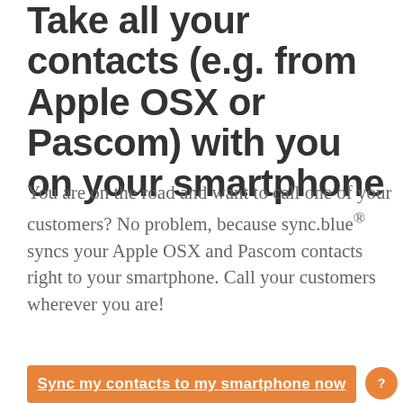Take all your contacts (e.g. from Apple OSX or Pascom) with you on your smartphone
You are on the road and want to call one of your customers? No problem, because sync.blue® syncs your Apple OSX and Pascom contacts right to your smartphone. Call your customers wherever you are!
Sync my contacts to my smartphone now